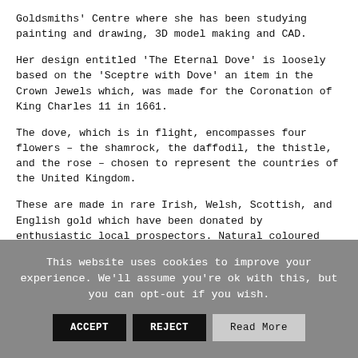Goldsmiths' Centre where she has been studying painting and drawing, 3D model making and CAD.
Her design entitled ‘The Eternal Dove’ is loosely based on the ‘Sceptre with Dove’ an item in the Crown Jewels which, was made for the Coronation of King Charles 11 in 1661.
The dove, which is in flight, encompasses four flowers – the shamrock, the daffodil, the thistle, and the rose – chosen to represent the countries of the United Kingdom.
These are made in rare Irish, Welsh, Scottish, and English gold which have been donated by enthusiastic local prospectors. Natural coloured diamonds have been used to highlight these flowers. Entwined holly leaves also feature in the design symbolising unity, while the dove stands for peace.
This website uses cookies to improve your experience. We’ll assume you’re ok with this, but you can opt-out if you wish. ACCEPT REJECT Read More